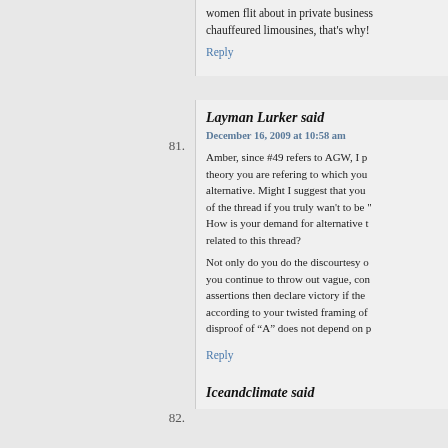women flit about in private business chauffeured limousines, that's why!
Reply
81.
Layman Lurker said
December 16, 2009 at 10:58 am
Amber, since #49 refers to AGW, I p... theory you are refering to which you... alternative. Might I suggest that you... of the thread if you truly wan't to be "... How is your demand for alternative t... related to this thread?
Not only do you do the discourtesy o... you continue to throw out vague, con... assertions then declare victory if the... according to your twisted framing of... disproof of "A" does not depend on p...
Reply
82.
Iceandclimate said